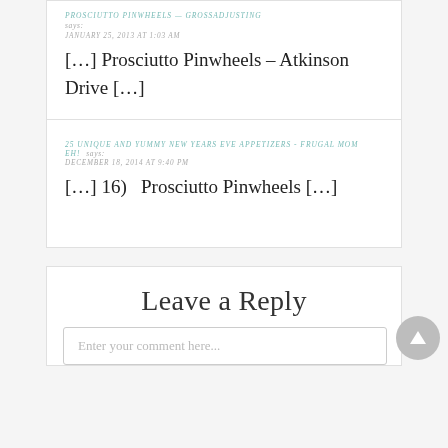PROSCIUTTO PINWHEELS — GROSSADJUSTING says:
JANUARY 25, 2013 AT 1:03 AM
[…] Prosciutto Pinwheels – Atkinson Drive […]
25 UNIQUE AND YUMMY NEW YEARS EVE APPETIZERS - FRUGAL MOM EH! says:
DECEMBER 18, 2014 AT 9:40 PM
[…] 16)  Prosciutto Pinwheels […]
Leave a Reply
Enter your comment here...